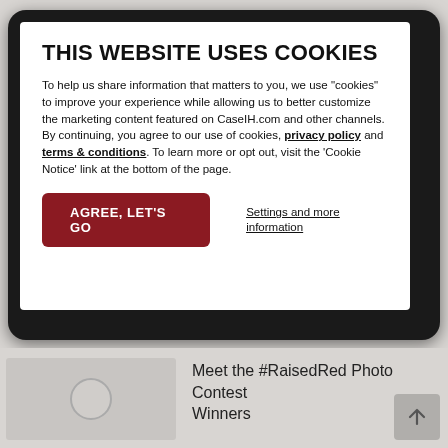THIS WEBSITE USES COOKIES
To help us share information that matters to you, we use "cookies" to improve your experience while allowing us to better customize the marketing content featured on CaseIH.com and other channels. By continuing, you agree to our use of cookies, privacy policy and terms & conditions. To learn more or opt out, visit the 'Cookie Notice' link at the bottom of the page.
AGREE, LET'S GO
Settings and more information
Meet the #RaisedRed Photo Contest Winners